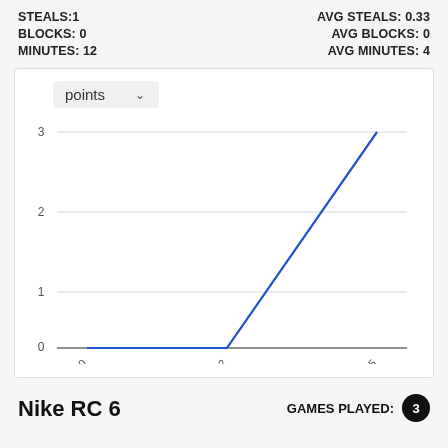STEALS: 1   AVG STEALS: 0.33
BLOCKS: 0   AVG BLOCKS: 0
MINUTES: 12   AVG MINUTES: 4
[Figure (line-chart): points]
Nike RC 6
GAMES PLAYED: 3